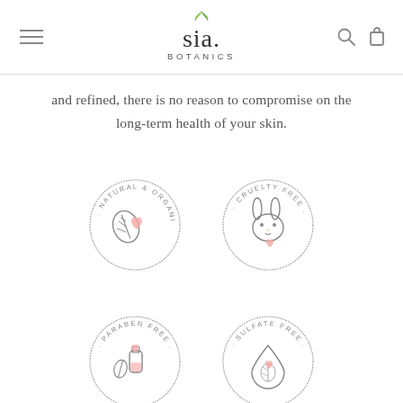sia. BOTANICS
and refined, there is no reason to compromise on the long-term health of your skin.
[Figure (logo): Natural & Organic badge - circular badge with leaf and heart icon, text reading NATURAL & ORGANIC around the circle]
[Figure (logo): Cruelty Free badge - circular badge with bunny face and heart icon, text reading CRUELTY FREE around the circle]
[Figure (logo): Paraben Free badge - circular badge with bottle and leaf icon and pink heart, text reading PARABEN FREE around the circle]
[Figure (logo): Sulfate Free badge - circular badge with water drop and leaf icon and pink heart, text reading SULFATE FREE around the circle]